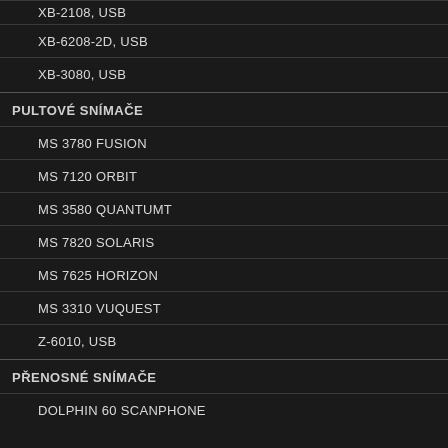XB-2108, USB
XB-6208-2D, USB
XB-3080, USB
PULTOVÉ SNÍMAČE
MS 3780 FUSION
MS 7120 ORBIT
MS 3580 QUANTUMT
MS 7820 SOLARIS
MS 7625 HORIZON
MS 3310 VUQUEST
Z-6010, USB
PŘENOSNÉ SNÍMAČE
DOLPHIN 60 SCANPHONE